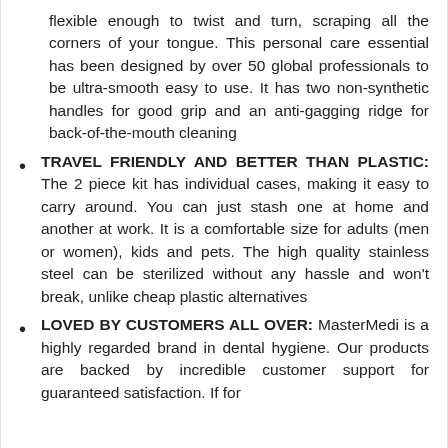flexible enough to twist and turn, scraping all the corners of your tongue. This personal care essential has been designed by over 50 global professionals to be ultra-smooth easy to use. It has two non-synthetic handles for good grip and an anti-gagging ridge for back-of-the-mouth cleaning
TRAVEL FRIENDLY AND BETTER THAN PLASTIC: The 2 piece kit has individual cases, making it easy to carry around. You can just stash one at home and another at work. It is a comfortable size for adults (men or women), kids and pets. The high quality stainless steel can be sterilized without any hassle and won't break, unlike cheap plastic alternatives
LOVED BY CUSTOMERS ALL OVER: MasterMedi is a highly regarded brand in dental hygiene. Our products are backed by incredible customer support for guaranteed satisfaction. If for